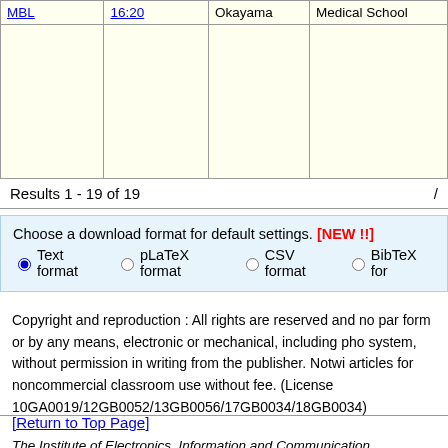|  |  | Okayama | Medical School |
| --- | --- | --- | --- |
| MBL | 16:20 | Okayama | Medical School |
|  |  |  |  |
Results 1 - 19 of 19 /
Choose a download format for default settings. [NEW !!] Text format  pLaTeX format  CSV format  BibTeX for
Copyright and reproduction : All rights are reserved and no par form or by any means, electronic or mechanical, including pho system, without permission in writing from the publisher. Notwi articles for noncommercial classroom use without fee. (License 10GA0019/12GB0052/13GB0056/17GB0034/18GB0034)
[Return to Top Page]
[Return to IEICE Web Page]
The Institute of Electronics, Information and Communication